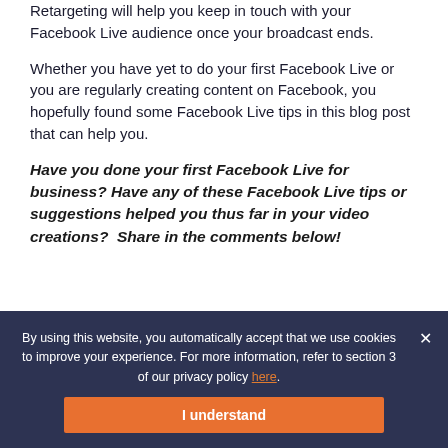Retargeting will help you keep in touch with your Facebook Live audience once your broadcast ends.
Whether you have yet to do your first Facebook Live or you are regularly creating content on Facebook, you hopefully found some Facebook Live tips in this blog post that can help you.
Have you done your first Facebook Live for business? Have any of these Facebook Live tips or suggestions helped you thus far in your video creations?  Share in the comments below!
[Figure (other): Teal/turquoise colored decorative box at the bottom of the content area]
By using this website, you automatically accept that we use cookies to improve your experience. For more information, refer to section 3 of our privacy policy here.
I understand